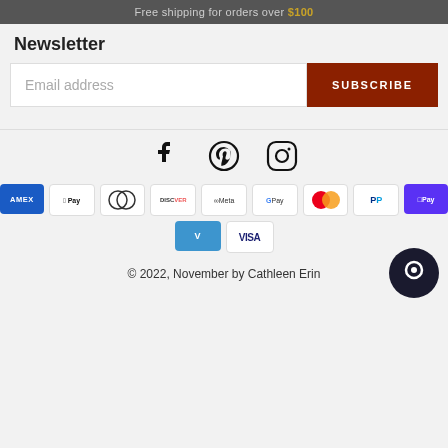Free shipping for orders over $100
Newsletter
Email address
SUBSCRIBE
[Figure (infographic): Social media icons: Facebook, Pinterest, Instagram]
[Figure (infographic): Payment method icons: American Express, Apple Pay, Diners Club, Discover, Meta Pay, Google Pay, Mastercard, PayPal, ShopPay, Venmo, Visa]
© 2022, November by Cathleen Erin